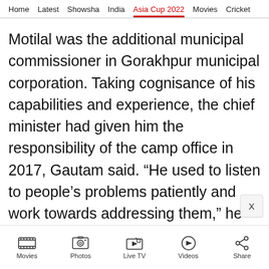Home | Latest | Showsha | India | Asia Cup 2022 | Movies | Cricket
Motilal was the additional municipal commissioner in Gorakhpur municipal corporation. Taking cognisance of his capabilities and experience, the chief minister had given him the responsibility of the camp office in 2017, Gautam said. “He used to listen to people’s problems patiently and work towards addressing them,” he said.
Movies | Photos | Live TV | Videos | Share